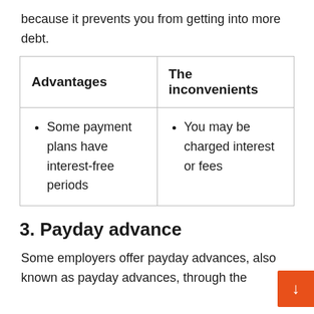because it prevents you from getting into more debt.
| Advantages | The inconvenients |
| --- | --- |
| Some payment plans have interest-free periods | You may be charged interest or fees |
3. Payday advance
Some employers offer payday advances, also known as payday advances, through the